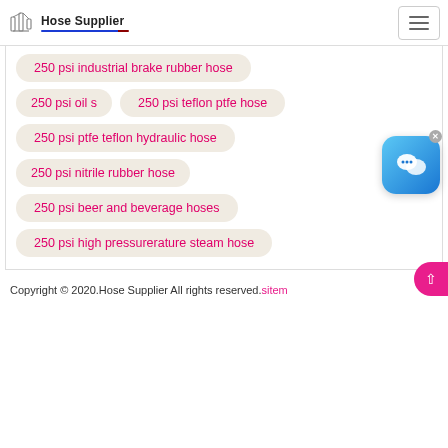Hose Supplier
250 psi industrial brake rubber hose
250 psi oil s
250 psi teflon ptfe hose
250 psi ptfe teflon hydraulic hose
250 psi nitrile rubber hose
250 psi beer and beverage hoses
250 psi high pressurerature steam hose
Copyright © 2020.Hose Supplier All rights reserved.sitem